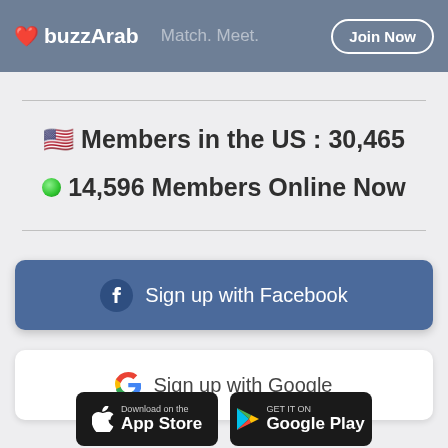buzzArab  Match. Meet.  Join Now
🇺🇸 Members in the US : 30,465
● 14,596 Members Online Now
Sign up with Facebook
Sign up with Google
[Figure (screenshot): Download on the App Store badge]
[Figure (screenshot): GET IT ON Google Play badge]